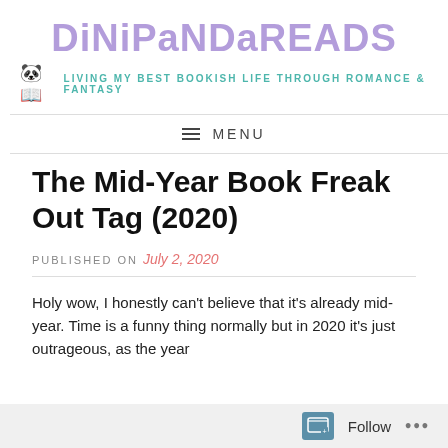DiNiPaNDaREADS — LiViNG MY BEST BOOKiSH LiFE THROUGh ROMANCE & FANTASY
MENU
The Mid-Year Book Freak Out Tag (2020)
PUBLISHED ON July 2, 2020
Holy wow, I honestly can't believe that it's already mid-year. Time is a funny thing normally but in 2020 it's just outrageous, as the year